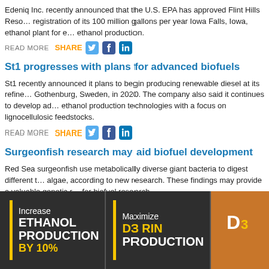Edeniq Inc. recently announced that the U.S. EPA has approved Flint Hills Reso… registration of its 100 million gallons per year Iowa Falls, Iowa, ethanol plant for … ethanol production.
READ MORE  SHARE
St1 progresses with plans for advanced biofuels
St1 recently announced it plans to begin producing renewable diesel at its refine… Gothenburg, Sweden, in 2020. The company also said it continues to develop a… ethanol production technologies with a focus on lignocellulosic feedstocks.
READ MORE  SHARE
Surgeonfish research may aid biofuel development
Red Sea surgeonfish use metabolically diverse giant bacteria to digest different … algae, according to new research. These findings may provide a valuable geneti… for biofuel research.
READ MORE  SHARE
[Figure (infographic): Advertisement banner: dark grey background. Left section: yellow vertical bar beside white text 'Increase ETHANOL PRODUCTION BY 10%'. Middle section: yellow vertical bar beside white/yellow text 'Maximize D3 RIN PRODUCTION'. Right section: orange/brown box with logo graphic.]